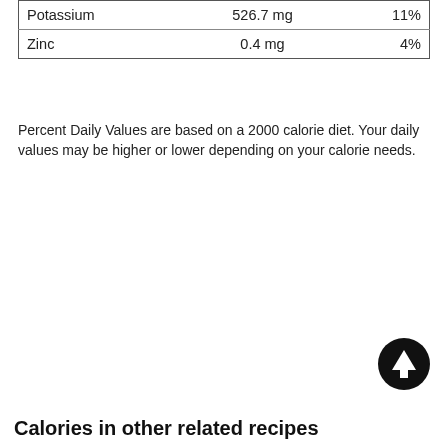|  |  |  |
| --- | --- | --- |
| Potassium | 526.7 mg | 11% |
| Zinc | 0.4 mg | 4% |
Percent Daily Values are based on a 2000 calorie diet. Your daily values may be higher or lower depending on your calorie needs.
[Figure (other): Circular black button with white upward arrow icon]
Calories in other related recipes